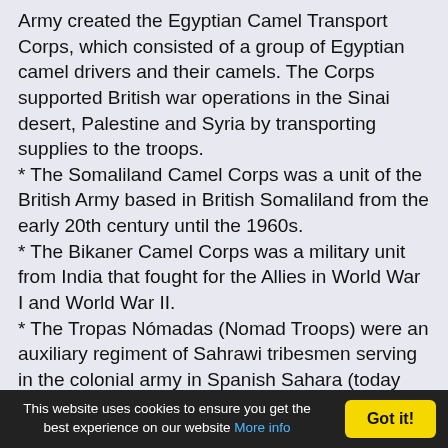Army created the Egyptian Camel Transport Corps, which consisted of a group of Egyptian camel drivers and their camels. The Corps supported British war operations in the Sinai desert, Palestine and Syria by transporting supplies to the troops.
* The Somaliland Camel Corps was a unit of the British Army based in British Somaliland from the early 20th century until the 1960s.
* The Bikaner Camel Corps was a military unit from India that fought for the Allies in World War I and World War II.
* The Tropas Nómadas (Nomad Troops) were an auxiliary regiment of Sahrawi tribesmen serving in the colonial army in Spanish Sahara (today Western Sahara). Operational from the 1930s until the end of the Spanish presence in the territory in
This website uses cookies to ensure you get the best experience on our website More info  Got it!